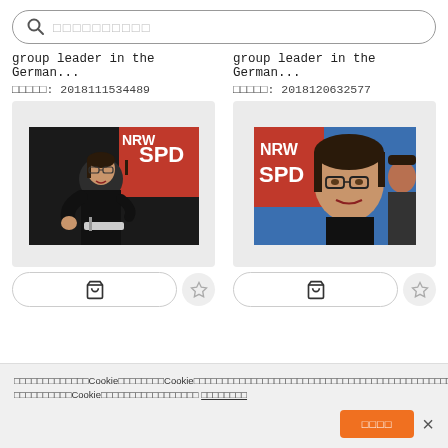[Figure (screenshot): Search bar with magnifying glass icon and placeholder text (Chinese characters)]
group leader in the German...
图片编号: 2018111534489
group leader in the German...
图片编号: 2018120632577
[Figure (photo): Woman with glasses speaking at podium with NRW SPD banner in background (left photo)]
[Figure (photo): Woman with glasses speaking at podium with NRW SPD banner in background (right photo, closer crop)]
我们使用我们自己的和第三方Cookie来改进我们的Cookie服务和向您显示与您的偏好相关的广告。继续浏览即表示您同意使用Cookie。 了解更多信息
接受所有